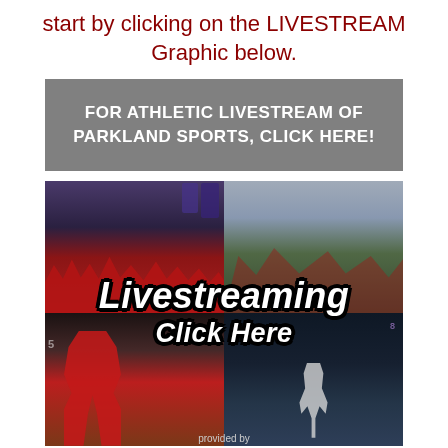start by clicking on the LIVESTREAM Graphic below.
[Figure (infographic): Gray banner button with white bold text: FOR ATHLETIC LIVESTREAM OF PARKLAND SPORTS, CLICK HERE!]
[Figure (photo): Sports collage with four quadrant photos (volleyball team, field hockey players, football player in red, night soccer game) overlaid with bold italic white text 'Livestreaming Click Here' with black outline. Bottom caption reads 'provided by'.]